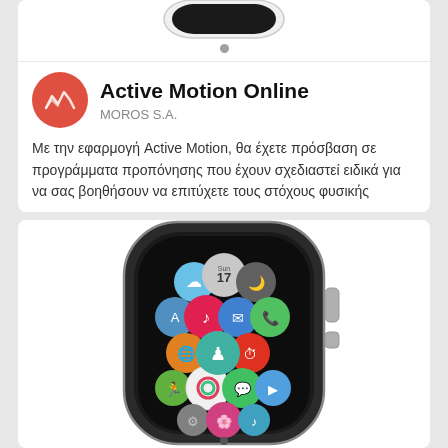[Figure (screenshot): Top portion of an Apple Watch device shown partially — bottom of watch body with screen crop]
Με την εφαρμογή Active Motion, θα έχετε πρόσβαση σε προγράμματα προπόνησης που έχουν σχεδιαστεί ειδικά για να σας βοηθήσουν να επιτύχετε τους στόχους φυσικής
[Figure (photo): Apple Watch showing home screen with app icons including calendar showing 17, music, mail, phone, maps, globe, activity rings, messages, and other system apps arranged in honeycomb pattern]